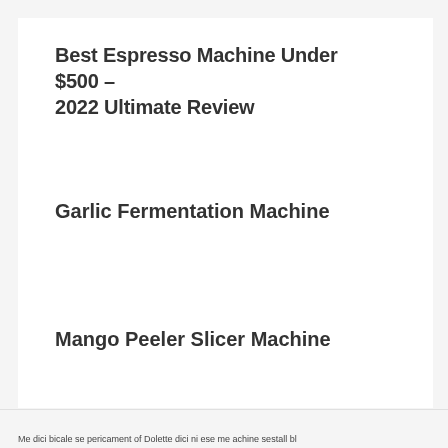Best Espresso Machine Under $500 – 2022 Ultimate Review
Garlic Fermentation Machine
Mango Peeler Slicer Machine
Me dici bicale se pericament of Dolette dici ni ese me achine sestall bl